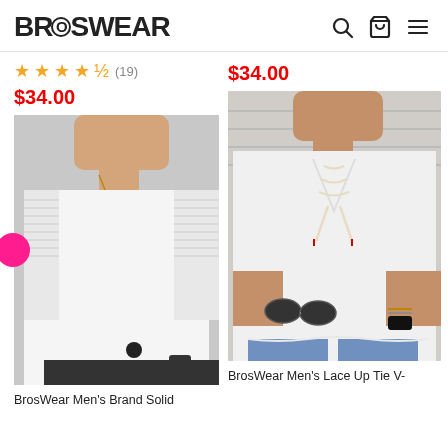BROSWEAR
★★★★½ (19)
$34.00
$34.00
[Figure (photo): Man wearing a white long sleeve crew neck ribbed shoulder shirt with a gold necklace]
[Figure (photo): Man wearing a white lace-up V-neck long sleeve shirt, holding sunglasses, wearing a watch]
BrosWear Men's Brand Solid
BrosWear Men's Lace Up Tie V-